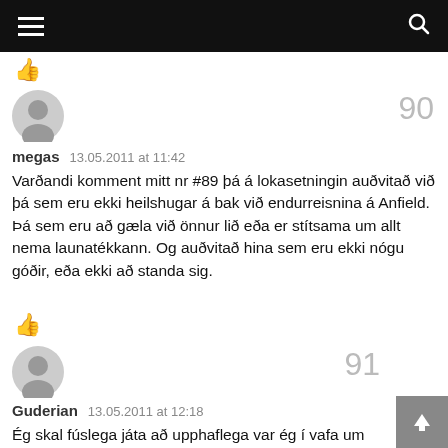90
megas   13.05.2011 at 11:42
Varðandi komment mitt nr #89 þá á lokasetningin auðvitað við þá sem eru ekki heilshugar á bak við endurreisnina á Anfield. Þá sem eru að gæla við önnur lið eða er stítsama um allt nema launatékkann. Og auðvitað hina sem eru ekki nógu góðir, eða ekki að standa sig.
91
Guderian   13.05.2011 at 12:18
Ég skal fúslega játa að upphaflega var ég í vafa um kónginn þetta er vafi svipaðrar gerðar og að vera Sjálfstæðismaður og